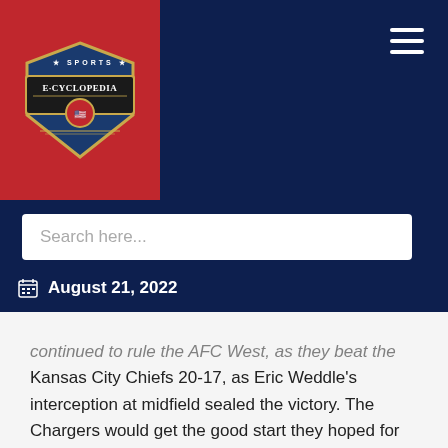Sports E·Cyclopedia — August 21, 2022
continued to rule the AFC West, as they beat the Kansas City Chiefs 20-17, as Eric Weddle's interception at midfield sealed the victory. The Chargers would get the good start they hoped for as they beat the Miami Dolphins and Denver Broncos to head into the bye week with a solid 4-1 record. However, after the bye the Chargers fizzled, blowing a 21-10 halftime lead, on the road against the New York Jets who ended the game with 17 unanswered points in the second half to win the game 27-21. A week later it was the Chargers who